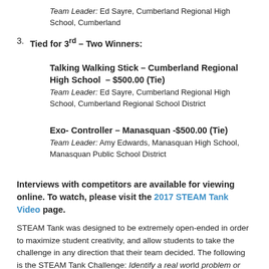Team Leader: Ed Sayre, Cumberland Regional High School, Cumberland
Tied for 3rd – Two Winners:
Talking Walking Stick – Cumberland Regional High School – $500.00 (Tie)
Team Leader: Ed Sayre, Cumberland Regional High School, Cumberland Regional School District
Exo- Controller – Manasquan -$500.00 (Tie)
Team Leader: Amy Edwards, Manasquan High School, Manasquan Public School District
Interviews with competitors are available for viewing online. To watch, please visit the 2017 STEAM Tank Video page.
STEAM Tank was designed to be extremely open-ended in order to maximize student creativity, and allow students to take the challenge in any direction that their team decided. The following is the STEAM Tank Challenge: Identify a real world problem or situation that needs resolution, modify an existing product to make it better, or invent something that does not